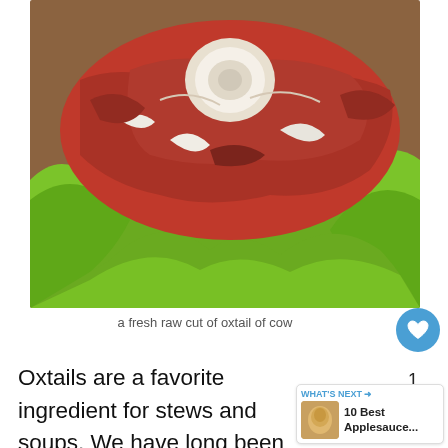[Figure (photo): A fresh raw cut of oxtail of cow displayed on green lettuce leaves, showing raw red meat with a round bone cross-section and white fat.]
a fresh raw cut of oxtail of cow
Oxtails are a favorite ingredient for stews and soups. We have long been braising and slow-cooking oxtails for years, and their flavor is so rich. The oxtail (though not from oxen) come tail of cattle.